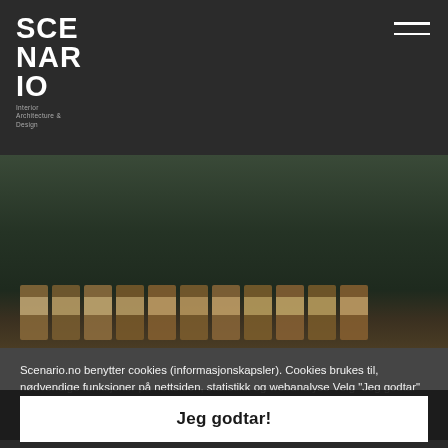[Figure (logo): SCENARIO logo in white text on dark background, top left of navigation bar]
[Figure (photo): Dark atmospheric photo showing a row of cork stoppers or labeled jars on a shelf against a dark green/brown background]
Scenario.no benytter cookies (informasjonskapsler). Cookies brukes til, nødvendige funksjoner på nettsiden, statistikk og webanalyse Velg "Jeg godtar" om du aksepterer vår bruk av cookies. Les mer om vårt personvern gjennom å følge linken nederst på siden "Personvern"
Jeg godtar!